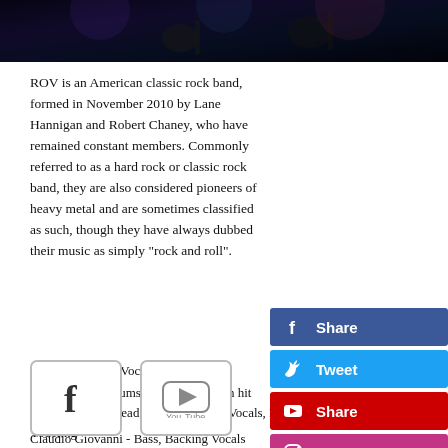[Figure (photo): Dark photo strip showing band performing with guitars, dark blue/purple tones]
ROV is an American classic rock band, formed in November 2010 by Lane Hannigan and Robert Chaney, who have remained constant members. Commonly referred to as a hard rock or classic rock band, they are also considered pioneers of heavy metal and are sometimes classified as such, though they have always dubbed their music as simply "rock and roll".
Lane Hannigan - Vocals, Guitar, Lead Whistler
Rob Chaney - Drums, Whatever he can hit with a stick
Stefan Brigati - Lead Guitar, Backing Vocals, Pro Yodeling
Claudio Giovanni - Bass, Backing Vocals
[Figure (infographic): Social share buttons: Facebook Share, Tweet, YouTube Share, Instagram Share, Email Share]
[Figure (logo): Facebook and YouTube icon buttons at bottom of page]